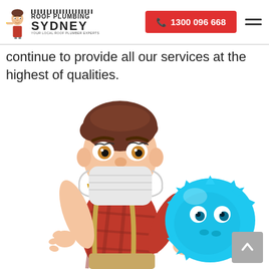Roof Plumbing Sydney | Your Local Roof Plumber Experts | 1300 096 668
continue to provide all our services at the highest of qualities.
[Figure (illustration): 3D cartoon plumber character wearing a face mask and red plaid shirt, holding a blue virus/germ illustration in front of him]